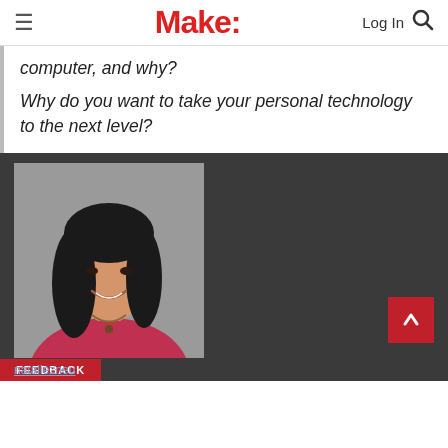Make: Log In 🔍
computer, and why? Why do you want to take your personal technology to the next level?
[Figure (photo): Portrait photo of a smiling Asian woman with long dark hair wearing a red top, shown from the waist up against a grey background.]
FEEDBACK
nataliezneu